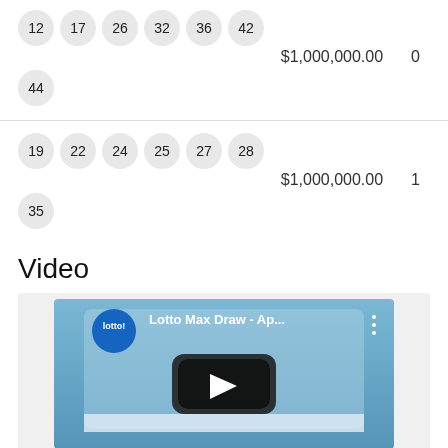12 17 26 32 36 42 44 — $1,000,000.00  0
19 22 24 25 27 28 35 — $1,000,000.00  1
Video
[Figure (screenshot): YouTube video thumbnail showing Lotto Max Draw ball machine, with lotto! logo and title 'Lotto Max Draw - Ap...']
Lotto Max / Apr 15, 2022